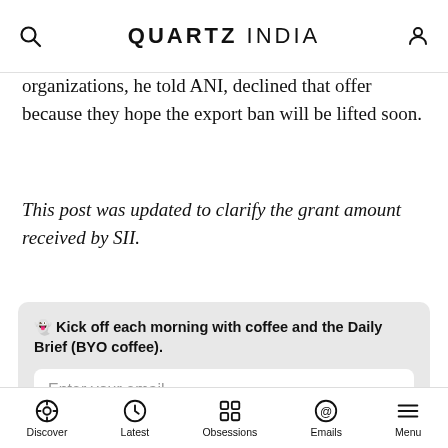QUARTZ INDIA
organizations, he told ANI, declined that offer because they hope the export ban will be lifted soon.
This post was updated to clarify the grant amount received by SII.
👻 Kick off each morning with coffee and the Daily Brief (BYO coffee). Enter your email Sign me up By providing your email, you agree to the Quartz Privacy Policy.
Discover  Latest  Obsessions  Emails  Menu